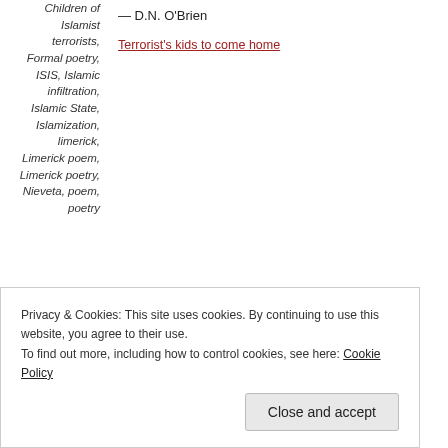Children of Islamist terrorists, Formal poetry, ISIS, Islamic infiltration, Islamic State, Islamization, limerick, Limerick poem, Limerick poetry, Nieveta, poem, poetry
— D.N. O'Brien
Terrorist's kids to come home
Privacy & Cookies: This site uses cookies. By continuing to use this website, you agree to their use. To find out more, including how to control cookies, see here: Cookie Policy
Close and accept